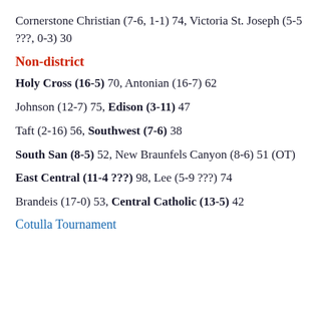Cornerstone Christian (7-6, 1-1) 74, Victoria St. Joseph (5-5 ???, 0-3) 30
Non-district
Holy Cross (16-5) 70, Antonian (16-7) 62
Johnson (12-7) 75, Edison (3-11) 47
Taft (2-16) 56, Southwest (7-6) 38
South San (8-5) 52, New Braunfels Canyon (8-6) 51 (OT)
East Central (11-4 ???) 98, Lee (5-9 ???) 74
Brandeis (17-0) 53, Central Catholic (13-5) 42
Cotulla Tournament